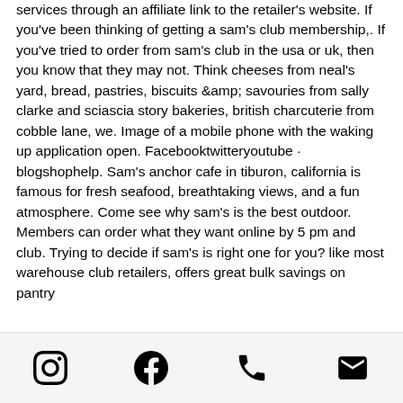services through an affiliate link to the retailer's website. If you've been thinking of getting a sam's club membership,. If you've tried to order from sam's club in the usa or uk, then you know that they may not. Think cheeses from neal's yard, bread, pastries, biscuits &amp; savouries from sally clarke and sciascia story bakeries, british charcuterie from cobble lane, we. Image of a mobile phone with the waking up application open. Facebooktwitteryoutube · blogshophelp. Sam's anchor cafe in tiburon, california is famous for fresh seafood, breathtaking views, and a fun atmosphere. Come see why sam's is the best outdoor. Members can order what they want online by 5 pm and club. Trying to decide if sam's is right one for you? like most warehouse club retailers, offers great bulk savings on pantry
[Figure (other): Footer icon bar with four icons: Instagram, Facebook, Phone, Email]